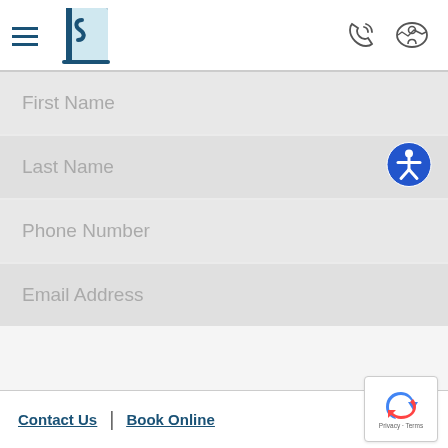[Figure (logo): Website header with hamburger menu icon, stylized S-curve logo in teal/dark blue, phone icon and map/location icon on the right]
First Name
Last Name
Phone Number
Email Address
Contact Us | Book Online